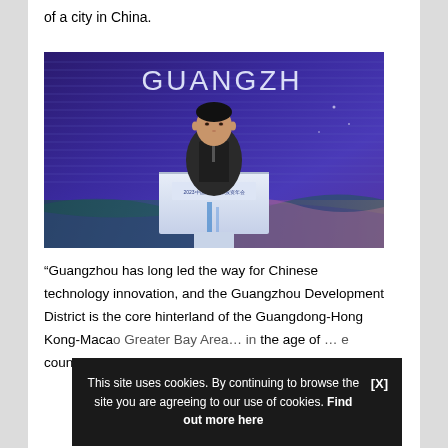of a city in China.
[Figure (photo): A man in a dark suit speaks at a white podium at what appears to be the 2023 Guangzhou International Investment Conference. The background shows a large blue/purple LED display with 'GUANGZH' visible in white letters. The setting appears to be a formal conference or summit.]
“Guangzhou has long led the way for Chinese technology innovation, and the Guangzhou Development District is the core hinterland of the Guangdong-Hong Kong-Macao Greater Bay Area... the age of... the country,” says...
This site uses cookies. By continuing to browse the site you are agreeing to our use of cookies. Find out more here   [X]